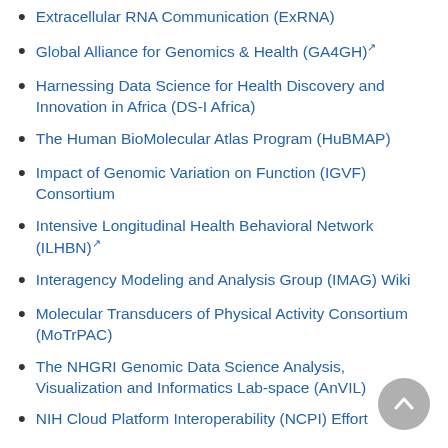Extracellular RNA Communication (ExRNA)
Global Alliance for Genomics & Health (GA4GH) [external link]
Harnessing Data Science for Health Discovery and Innovation in Africa (DS-I Africa)
The Human BioMolecular Atlas Program (HuBMAP)
Impact of Genomic Variation on Function (IGVF) Consortium
Intensive Longitudinal Health Behavioral Network (ILHBN) [external link]
Interagency Modeling and Analysis Group (IMAG) Wiki
Molecular Transducers of Physical Activity Consortium (MoTrPAC)
The NHGRI Genomic Data Science Analysis, Visualization and Informatics Lab-space (AnVIL)
NIH Cloud Platform Interoperability (NCPI) Effort
Nutrition for Precision Health, powered by the All